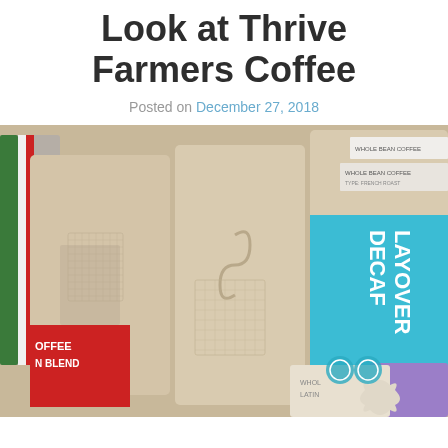Look at Thrive Farmers Coffee
Posted on December 27, 2018
[Figure (photo): Photograph of multiple kraft paper coffee bags from Thrive Farmers Coffee, including a prominent bag labeled 'LAYOVER DECAF' with a blue band, along with other bags showing 'WHOLE BEAN COFFEE', 'OFFEE N BLEND', and partially visible labels 'LATIN' and other branding.]